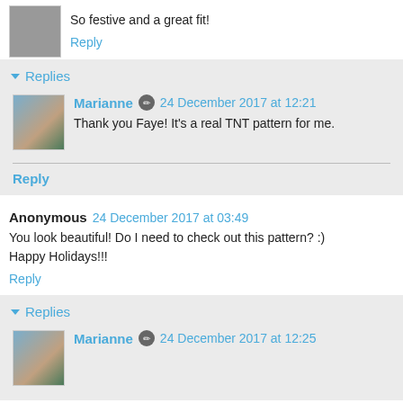So festive and a great fit!
Reply
Replies
Marianne  24 December 2017 at 12:21
Thank you Faye! It's a real TNT pattern for me.
Reply
Anonymous  24 December 2017 at 03:49
You look beautiful! Do I need to check out this pattern? :) Happy Holidays!!!
Reply
Replies
Marianne  24 December 2017 at 12:25